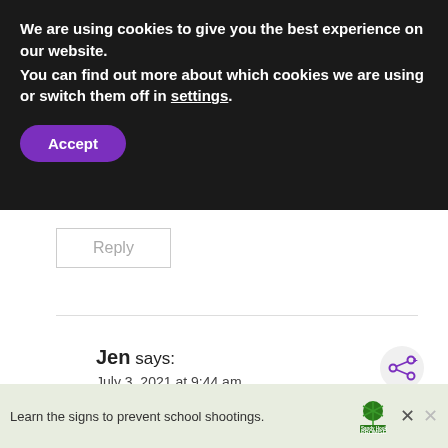We are using cookies to give you the best experience on our website.
You can find out more about which cookies we are using or switch them off in settings.
Accept
Reply
Jen says:
July 3, 2021 at 9:44 am
[Figure (infographic): Share icon (add/share button) top right of comment]
WHAT'S NEXT → Please Don't Make Banan...
Thanks for the note on this. I was primarily
Learn the signs to prevent school shootings. Sandy Hook PROMISE